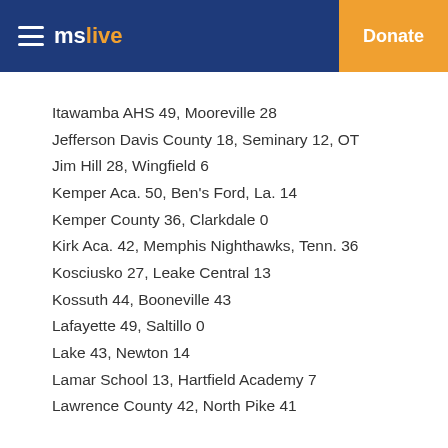mslive | Donate
Itawamba AHS 49, Mooreville 28
Jefferson Davis County 18, Seminary 12, OT
Jim Hill 28, Wingfield 6
Kemper Aca. 50, Ben's Ford, La. 14
Kemper County 36, Clarkdale 0
Kirk Aca. 42, Memphis Nighthawks, Tenn. 36
Kosciusko 27, Leake Central 13
Kossuth 44, Booneville 43
Lafayette 49, Saltillo 0
Lake 43, Newton 14
Lamar School 13, Hartfield Academy 7
Lawrence County 42, North Pike 41